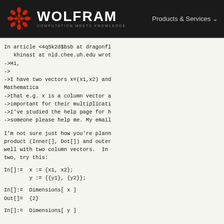WOLFRAM COMPUTATION MEETS KNOWLEDGE | Products & Services
In article <4q5k2d$bsb at dragonfl
   khinast at nld.chee.uh.edu wrot
->Hi,
->
->I have two vectors x=(x1,x2) and
Mathematica
->that e.g. x is a column vector a
->important for their multiplicati
->I've studied the help page for h
->someone please help me. My email
I'm not sure just how you're plann
product (Inner[], Dot[]) and outer
well with two column vectors.  In
two, try this:
In[]:=  x := {x1, x2};
        y := {{y1}, {y2}};
In[]:=  Dimensions[ x ]
Out[]=  {2}
In[]:=  Dimensions[ y ]